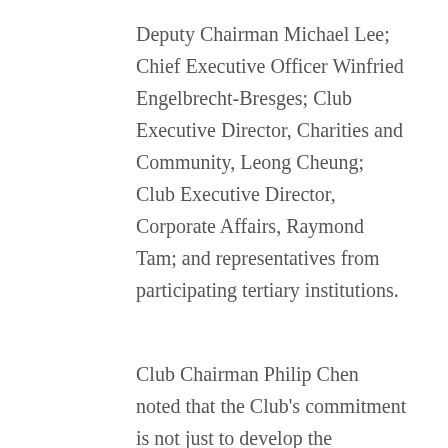Deputy Chairman Michael Lee; Chief Executive Officer Winfried Engelbrecht-Bresges; Club Executive Director, Charities and Community, Leong Cheung; Club Executive Director, Corporate Affairs, Raymond Tam; and representatives from participating tertiary institutions.
Club Chairman Philip Chen noted that the Club's commitment is not just to develop the intellectual capacity of Scholars but also their sense of social responsibility. For the Club's sole purpose is the betterment of society. He encouraged the Scholars to take everything that they have learned to heart. In particular, he urged